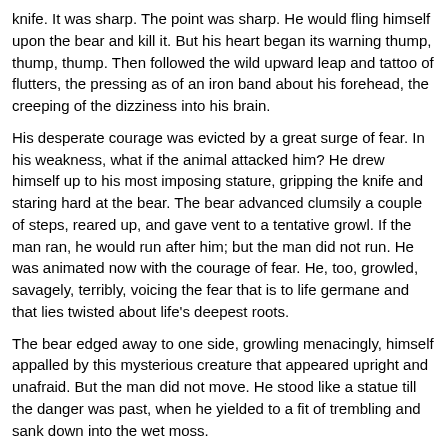knife. It was sharp. The point was sharp. He would fling himself upon the bear and kill it. But his heart began its warning thump, thump, thump. Then followed the wild upward leap and tattoo of flutters, the pressing as of an iron band about his forehead, the creeping of the dizziness into his brain.
His desperate courage was evicted by a great surge of fear. In his weakness, what if the animal attacked him? He drew himself up to his most imposing stature, gripping the knife and staring hard at the bear. The bear advanced clumsily a couple of steps, reared up, and gave vent to a tentative growl. If the man ran, he would run after him; but the man did not run. He was animated now with the courage of fear. He, too, growled, savagely, terribly, voicing the fear that is to life germane and that lies twisted about life's deepest roots.
The bear edged away to one side, growling menacingly, himself appalled by this mysterious creature that appeared upright and unafraid. But the man did not move. He stood like a statue till the danger was past, when he yielded to a fit of trembling and sank down into the wet moss.
He pulled himself together and went on, afraid now in a new way. It was not the fear that he should die passively from lack of food, but that he should be destroyed violently before starvation had exhausted the last particle of the endeavor in him that made toward surviving. There were the wolves. Back and forth across the desolation drifted their howls, weaving the very air into a fabric of menace that was so tangible that he found himself, arms in the air, pressing it back from him as it might be the walls of a wind- blown tent.
Now and again the wolves, in packs of two and three, crossed his path. But they sheered clear of him. They were not in sufficient numbers, and besides they were hunting the caribou, which did not bother him this